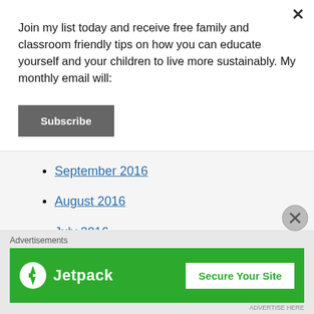Join my list today and receive free family and classroom friendly tips on how you can educate yourself and your children to live more sustainably. My monthly email will:
September 2016
August 2016
July 2016
June 2016
May 2016
[Figure (infographic): Jetpack advertisement banner with green background, Jetpack logo and bolt icon on the left, 'Secure Your Site' white button on the right]